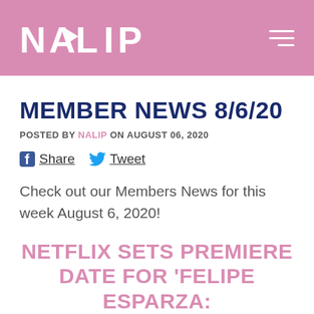NALIP
MEMBER NEWS 8/6/20
POSTED BY NALIP ON AUGUST 06, 2020
Share  Tweet
Check out our Members News for this week August 6, 2020!
NETFLIX SETS PREMIERE DATE FOR 'FELIPE ESPARZA: